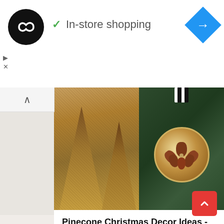[Figure (screenshot): Ad banner with dark circular logo with infinity-like icon, checkmark and 'In-store shopping' text, blue diamond navigation icon on right, with small play and close controls below logo]
[Figure (screenshot): Social media sharing bar with Facebook, Twitter, Pinterest, Save, and Email buttons below a collage of two Christmas decor images: pinecone-covered cone trees on left, wooden ornament with pinecone flower on evergreen background on right]
Pinecone Christmas Decor Ideas - The Creek Line House
[Figure (photo): Glass hurricane vase filled with pinecones and green Christmas light strands on a light background]